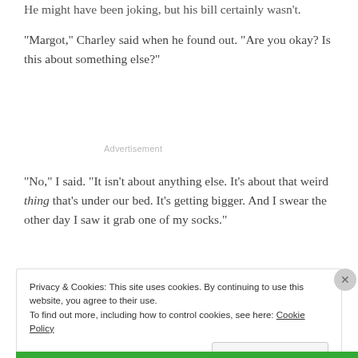He might have been joking, but his bill certainly wasn't.
“Margot,” Charley said when he found out. “Are you okay? Is this about something else?”
Advertisement
“No,” I said. “It isn’t about anything else. It’s about that weird thing that’s under our bed. It’s getting bigger. And I swear the other day I saw it grab one of my socks.”
Privacy & Cookies: This site uses cookies. By continuing to use this website, you agree to their use.
To find out more, including how to control cookies, see here: Cookie Policy
Close and accept